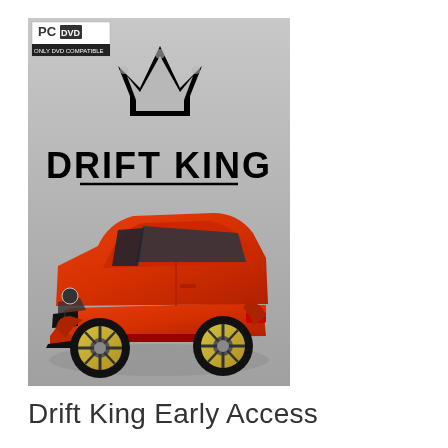[Figure (illustration): PC DVD game box cover for 'Drift King' showing a crown logo at top, bold text 'DRIFT KING' with an underline, and a low-slung orange/red BMW M3 coupe with yellow/gold wheels on a grey background. Top-left corner shows 'PC DVD' and 'ONLY DVD COMPATIBLE' label.]
Drift King Early Access